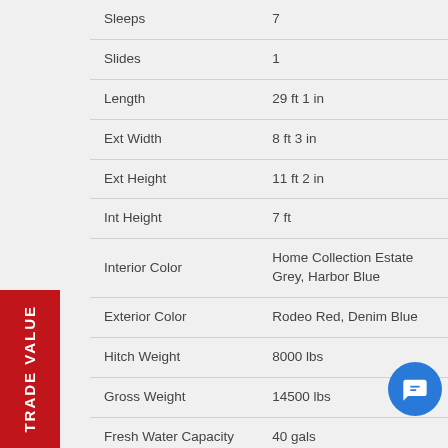| Feature | Value |
| --- | --- |
| Sleeps | 7 |
| Slides | 1 |
| Length | 29 ft 1 in |
| Ext Width | 8 ft 3 in |
| Ext Height | 11 ft 2 in |
| Int Height | 7 ft |
| Interior Color | Home Collection Estate Grey, Harbor Blue |
| Exterior Color | Rodeo Red, Denim Blue |
| Hitch Weight | 8000 lbs |
| Gross Weight | 14500 lbs |
| Fresh Water Capacity | 40 gals |
| Grey Water Capacity | 37 gals |